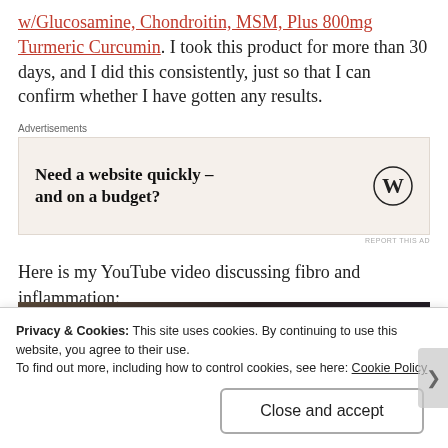w/Glucosamine, Chondroitin, MSM, Plus 800mg Turmeric Curcumin. I took this product for more than 30 days, and I did this consistently, just so that I can confirm whether I have gotten any results.
[Figure (other): WordPress advertisement: 'Need a website quickly – and on a budget?' with WordPress logo]
Here is my YouTube video discussing fibro and inflammation:
[Figure (screenshot): YouTube video thumbnail showing a person with blue hair]
Privacy & Cookies: This site uses cookies. By continuing to use this website, you agree to their use. To find out more, including how to control cookies, see here: Cookie Policy
Close and accept